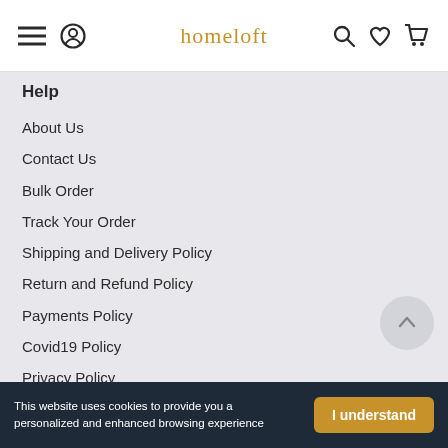homeloft
Help
About Us
Contact Us
Bulk Order
Track Your Order
Shipping and Delivery Policy
Return and Refund Policy
Payments Policy
Covid19 Policy
Privacy Policy
Terms and Conditions
This website uses cookies to provide you a personalized and enhanced browsing experience